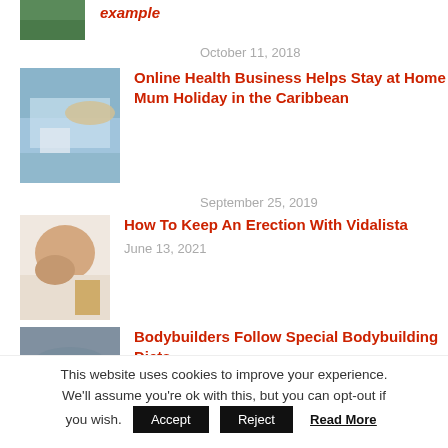example
October 11, 2018
[Figure (photo): Outdoor resort/pool area with umbrella and seating]
Online Health Business Helps Stay at Home Mum Holiday in the Caribbean
September 25, 2019
[Figure (photo): Couple smiling in bed]
How To Keep An Erection With Vidalista
June 13, 2021
[Figure (photo): Person holding a plate with fried eggs and vegetables]
Bodybuilders Follow Special Bodybuilding Diets
This website uses cookies to improve your experience. We'll assume you're ok with this, but you can opt-out if you wish.